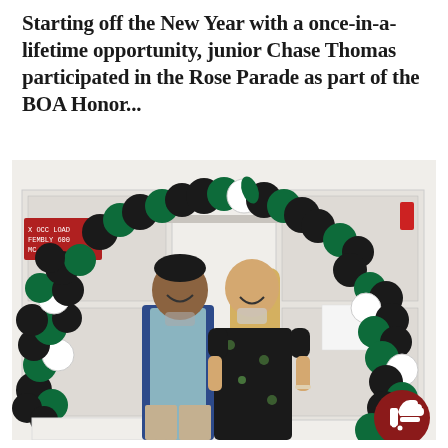Starting off the New Year with a once-in-a-lifetime opportunity, junior Chase Thomas participated in the Rose Parade as part of the BOA Honor...
[Figure (photo): Two young people, a dark-haired male in a navy jacket over a light blue shirt and khaki pants, and a blonde female in a black floral dress, stand smiling in front of a white wall decorated with a large arch made of black, green, and white balloons. A red sign on the left reads 'OCC LOAD / FEMBLY 600 / MC 260'. A dark red circular thumbs-up button is visible in the lower-right corner of the image.]